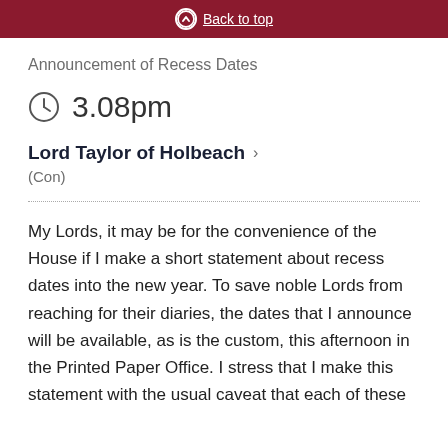Back to top
Announcement of Recess Dates
3.08pm
Lord Taylor of Holbeach
(Con)
My Lords, it may be for the convenience of the House if I make a short statement about recess dates into the new year. To save noble Lords from reaching for their diaries, the dates that I announce will be available, as is the custom, this afternoon in the Printed Paper Office. I stress that I make this statement with the usual caveat that each of these